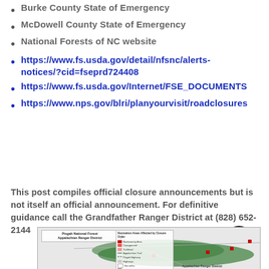Burke County State of Emergency
McDowell County State of Emergency
National Forests of NC website
https://www.fs.usda.gov/detail/nfsnc/alerts-notices/?cid=fseprd724408
https://www.fs.usda.gov/Internet/FSE_DOCUMENTS...
https://www.nps.gov/blri/planyourvisit/roadclosures...
This post compiles official closure announcements but is not itself an official announcement. For definitive guidance call the Grandfather Ranger District at (828) 652-2144
[Figure (map): Map of Pisgah National Forest Appalachian Ranger District showing recreation areas affected by closure order, with legend indicating trail closures, road closures, and other markers.]